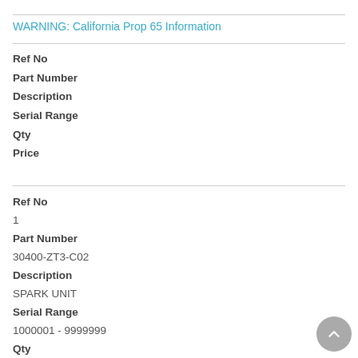WARNING: California Prop 65 Information
Ref No
Part Number
Description
Serial Range
Qty
Price
Ref No
1
Part Number
30400-ZT3-C02
Description
SPARK UNIT
Serial Range
1000001 - 9999999
Qty